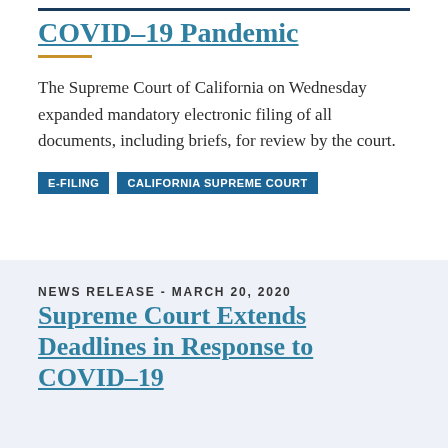COVID-19 Pandemic
The Supreme Court of California on Wednesday expanded mandatory electronic filing of all documents, including briefs, for review by the court.
E-FILING
CALIFORNIA SUPREME COURT
NEWS RELEASE - MARCH 20, 2020
Supreme Court Extends Deadlines in Response to COVID-19